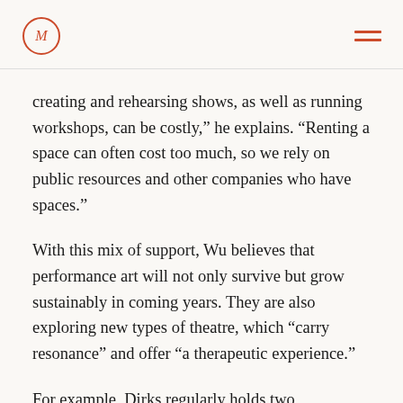M (logo) | hamburger menu
creating and rehearsing shows, as well as running workshops, can be costly,” he explains. “Renting a space can often cost too much, so we rely on public resources and other companies who have spaces.”
With this mix of support, Wu believes that performance art will not only survive but grow sustainably in coming years. They are also exploring new types of theatre, which “carry resonance” and offer “a therapeutic experience.”
For example, Dirks regularly holds two government-subsidised workshops: drumming and the Feldenkrais method. The latter is a form